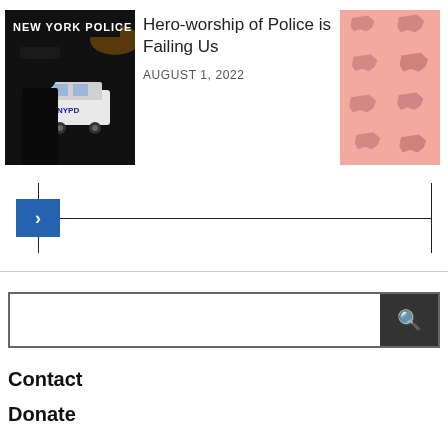[Figure (photo): NYPD police officer in dark uniform standing in front of a police vehicle with 'New York Police Dept' sign in background, nighttime scene]
Hero-worship of Police is Failing Us
AUGUST 1, 2022
[Figure (illustration): Pink background with repeating New York state silhouettes in a darker pink/mauve color]
[Figure (other): Slider navigation bar with blue arrow button on left, horizontal line spanning width with vertical lines at ends]
[Figure (other): Search bar with text input field and dark search button with magnifying glass icon]
Contact
Donate